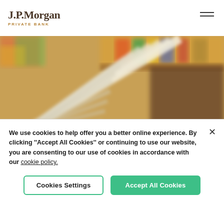[Figure (logo): J.P. Morgan Private Bank logo with serif J.P.Morgan text and 'PRIVATE BANK' subtitle in gold/brown]
[Figure (photo): Close-up blurred photo of an open book with fanned pages, colorful books on shelves in background]
We use cookies to help offer you a better online experience. By clicking "Accept All Cookies" or continuing to use our website, you are consenting to our use of cookies in accordance with our cookie policy.
Cookies Settings
Accept All Cookies